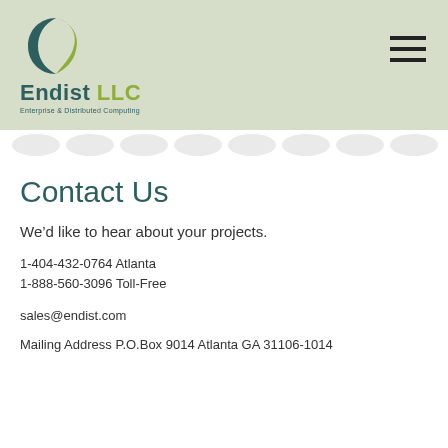[Figure (logo): Endist LLC logo with crescent and leaf icon, text reads 'Endist LLC Enterprise & Distributed Computing']
Contact Us
We’d like to hear about your projects.
1-404-432-0764 Atlanta
1-888-560-3096 Toll-Free
sales@endist.com
Mailing Address P.O.Box 9014 Atlanta GA 31106-1014